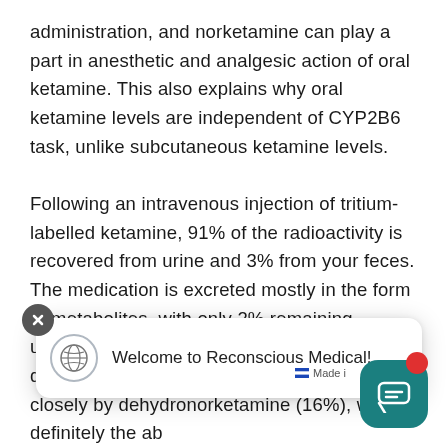administration, and norketamine can play a part in anesthetic and analgesic action of oral ketamine. This also explains why oral ketamine levels are independent of CYP2B6 task, unlike subcutaneous ketamine levels. Following an intravenous injection of tritium-labelled ketamine, 91% of the radioactivity is recovered from urine and 3% from your feces. The medication is excreted mostly in the form of metabolites, with only 2% remaining unchanged. Conjugated hydroxylated derivatives of ketamine (80%) accompanied closely by dehydronorketamine (16%), will be definitely the ab...e urin... Esketamine is approximately twice as effective as